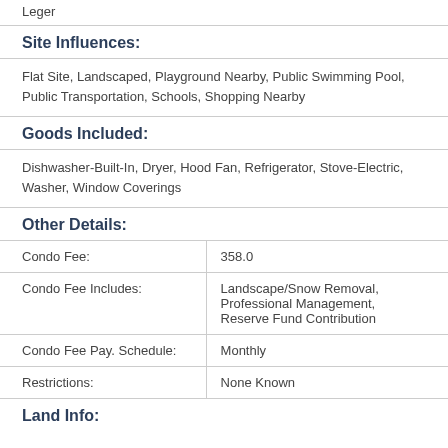Leger
Site Influences:
Flat Site, Landscaped, Playground Nearby, Public Swimming Pool, Public Transportation, Schools, Shopping Nearby
Goods Included:
Dishwasher-Built-In, Dryer, Hood Fan, Refrigerator, Stove-Electric, Washer, Window Coverings
Other Details:
| Condo Fee: | 358.0 |
| Condo Fee Includes: | Landscape/Snow Removal, Professional Management, Reserve Fund Contribution |
| Condo Fee Pay. Schedule: | Monthly |
| Restrictions: | None Known |
Land Info: